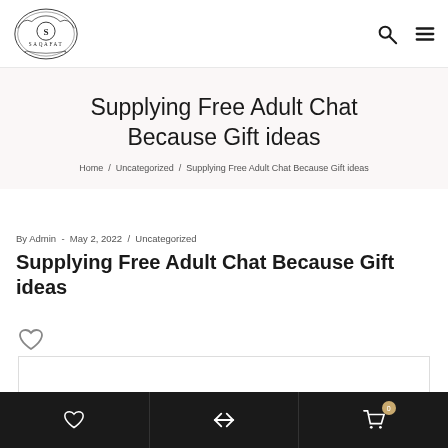Saqafat logo, search icon, menu icon
Supplying Free Adult Chat Because Gift ideas
Home / Uncategorized / Supplying Free Adult Chat Because Gift ideas
By Admin - May 2, 2022 / Uncategorized
Supplying Free Adult Chat Because Gift ideas
Content material
Heart icon | Share icon | Cart icon (0)